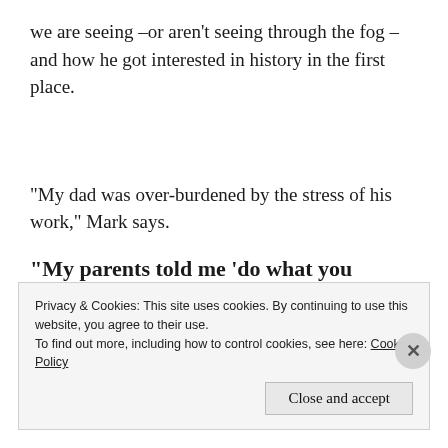we are seeing –or aren't seeing through the fog –and how he got interested in history in the first place.
“My dad was over-burdened by the stress of his work,” Mark says.
“My parents told me ‘do what you enjoy.’”
He takes a sip of coffee from his travel mug, and rubs
Privacy & Cookies: This site uses cookies. By continuing to use this website, you agree to their use.
To find out more, including how to control cookies, see here: Cookie Policy
Close and accept